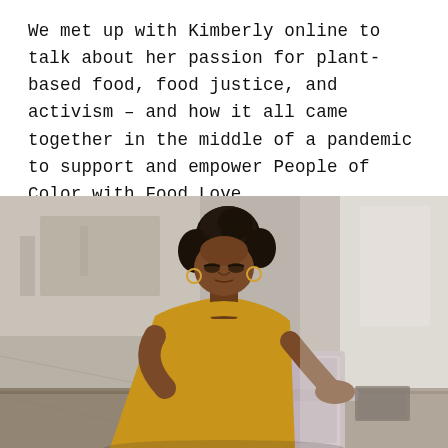We met up with Kimberly online to talk about her passion for plant-based food, food justice, and activism – and how it all came together in the middle of a pandemic to support and empower People of Color with Food Love.
[Figure (photo): A Black woman with curly hair in a bun, wearing a yellow top, sitting at a table working on a laptop. The background is bright and blurred, suggesting an indoor or covered outdoor space.]